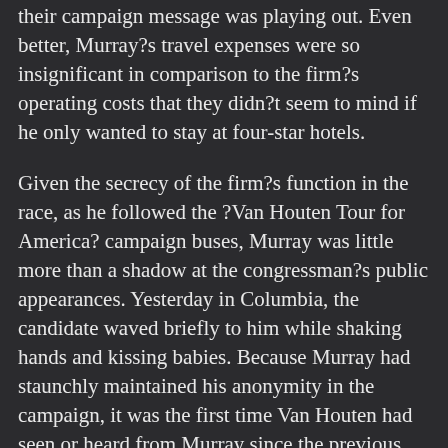their campaign message was playing out. Even better, Murray?s travel expenses were so insignificant in comparison to the firm?s operating costs that they didn?t seem to mind if he only wanted to stay at four-star hotels.
Given the secrecy of the firm?s function in the race, as he followed the ?Van Houten Tour for America? campaign buses, Murray was little more than a shadow at the congressman?s public appearances. Yesterday in Columbia, the candidate waved briefly to him while shaking hands and kissing babies. Because Murray had staunchly maintained his anonymity in the campaign, it was the first time Van Houten had seen or heard from Murray since the previous month when they had met at the firm headquarters. Murray was not accountable or, for